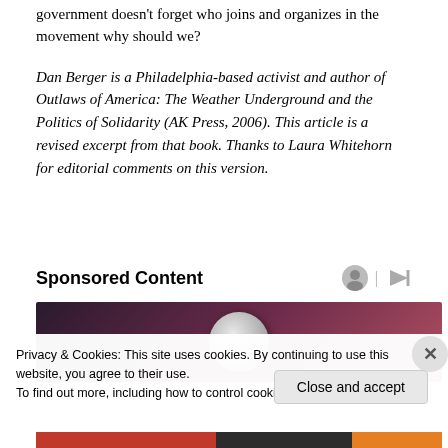government doesn't forget who joins and organizes in the movement why should we?
Dan Berger is a Philadelphia-based activist and author of Outlaws of America: The Weather Underground and the Politics of Solidarity (AK Press, 2006). This article is a revised excerpt from that book. Thanks to Laura Whitehorn for editorial comments on this version.
Sponsored Content
[Figure (photo): Advertisement image with dark purple/red background and a globe or spherical object in the center]
Privacy & Cookies: This site uses cookies. By continuing to use this website, you agree to their use.
To find out more, including how to control cookies, see here: Cookie Policy
Close and accept